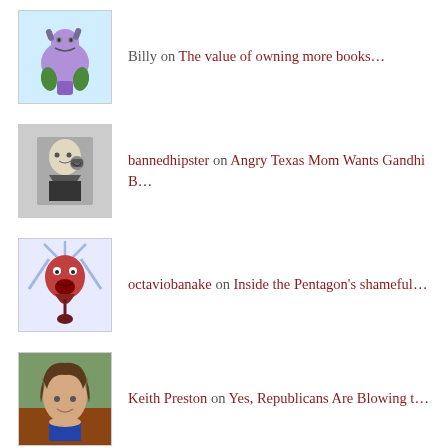Billy on The value of owning more books…
bannedhipster on Angry Texas Mom Wants Gandhi B…
octaviobanake on Inside the Pentagon's shameful…
Keith Preston on Yes, Republicans Are Blowing t…
FOLLOW VIA EMAIL
Enter your email address to follow Attack the System and receive notifications of new posts by email